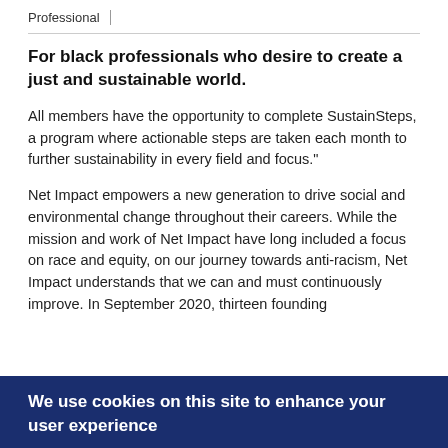Professional
For black professionals who desire to create a just and sustainable world.
All members have the opportunity to complete SustainSteps, a program where actionable steps are taken each month to further sustainability in every field and focus."
Net Impact empowers a new generation to drive social and environmental change throughout their careers. While the mission and work of Net Impact have long included a focus on race and equity, on our journey towards anti-racism, Net Impact understands that we can and must continuously improve. In September 2020, thirteen founding
We use cookies on this site to enhance your user experience